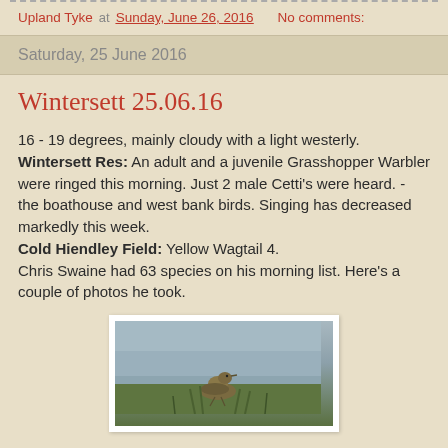Upland Tyke at Sunday, June 26, 2016    No comments:
Saturday, 25 June 2016
Wintersett 25.06.16
16 - 19 degrees, mainly cloudy with a light westerly. Wintersett Res: An adult and a juvenile Grasshopper Warbler were ringed this morning. Just 2 male Cetti's were heard. - the boathouse and west bank birds. Singing has decreased markedly this week. Cold Hiendley Field: Yellow Wagtail 4. Chris Swaine had 63 species on his morning list. Here's a couple of photos he took.
[Figure (photo): A photograph of a bird (likely a Grasshopper Warbler or similar species) perched among green vegetation, against a grey sky background.]